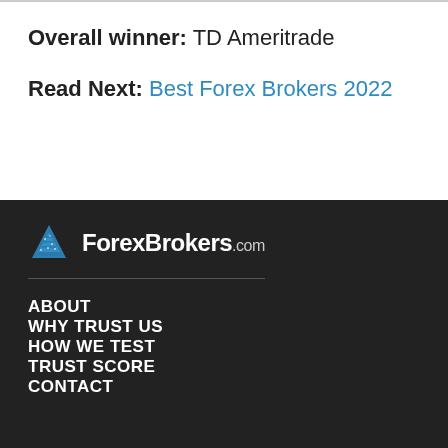Overall winner: TD Ameritrade
Read Next: Best Forex Brokers 2022
[Figure (logo): ForexBrokers.com logo with a blue triangle/tree icon on a dark background]
ABOUT
WHY TRUST US
HOW WE TEST
TRUST SCORE
CONTACT